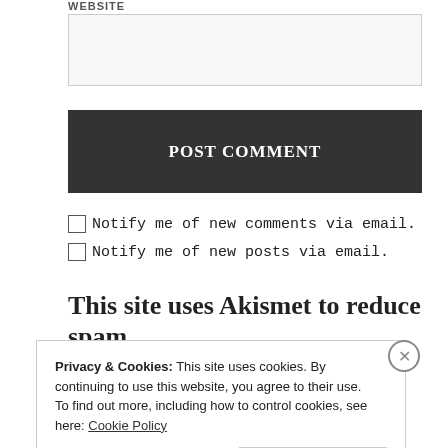WEBSITE
[website input field]
POST COMMENT
Notify me of new comments via email.
Notify me of new posts via email.
This site uses Akismet to reduce spam.
Privacy & Cookies: This site uses cookies. By continuing to use this website, you agree to their use.
To find out more, including how to control cookies, see here: Cookie Policy
Close and accept